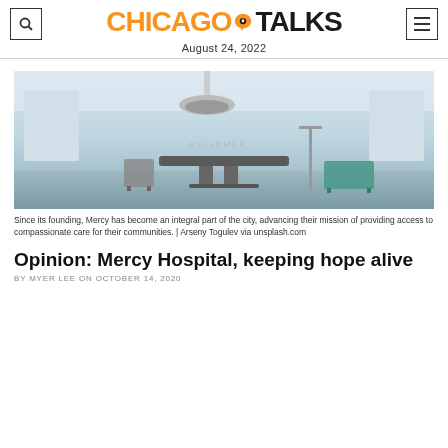CHICAGO TALKS
August 24, 2022
[Figure (photo): Interior of a hospital operating room with surgical table, medical equipment, overhead surgical lights, and white walls.]
Since its founding, Mercy has become an integral part of the city, advancing their mission of providing access to compassionate care for their communities. | Arseny Togulev via unsplash.com
Opinion: Mercy Hospital, keeping hope alive
BY MYER LEE ON OCTOBER 14, 2020